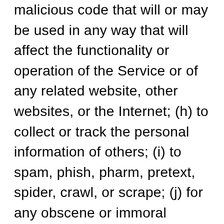malicious code that will or may be used in any way that will affect the functionality or operation of the Service or of any related website, other websites, or the Internet; (h) to collect or track the personal information of others; (i) to spam, phish, pharm, pretext, spider, crawl, or scrape; (j) for any obscene or immoral purpose; or (k) to interfere with or circumvent the security features of the Service or any related website, other websites, or the Internet. We reserve the right to terminate your use of the Service or any related website for violating any of the prohibited uses.